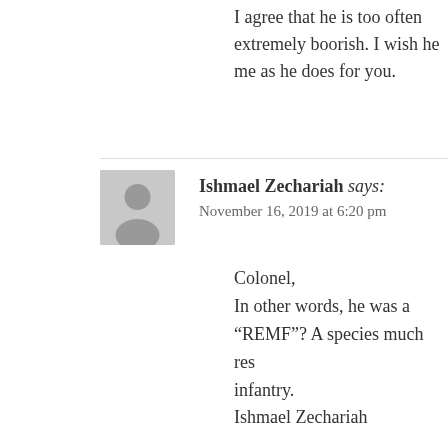I agree that he is too often extremely boorish. I wish he bothered me as he does for you.
Ishmael Zechariah says:
November 16, 2019 at 6:20 pm

Colonel,
In other words, he was a “REMF”? A species much res infantry.
Ishmael Zechariah
Diana C says:
November 16, 2019 at 6:21 pm

I have also given up any party loyalty. As I have lived many terms, I realize that those men were just men who each we all do. My favorite period of English Literature was